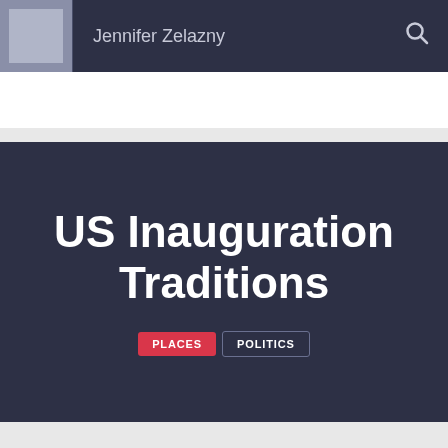Jennifer Zelazny
US Inauguration Traditions
PLACES   POLITICS